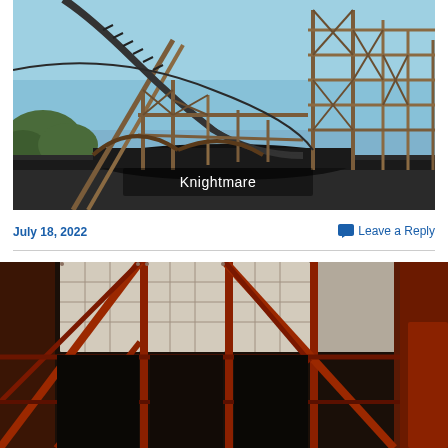[Figure (photo): Outdoor photo of a wooden roller coaster structure (Knightmare) with blue sky background. The wooden frame and track are visible. Text overlay reads 'Knightmare' in white.]
July 18, 2022
Leave a Reply
[Figure (photo): Indoor/underside photo of a roller coaster structure showing red/rust-colored metal framework and support beams from below, with bright lighting visible through the structure.]